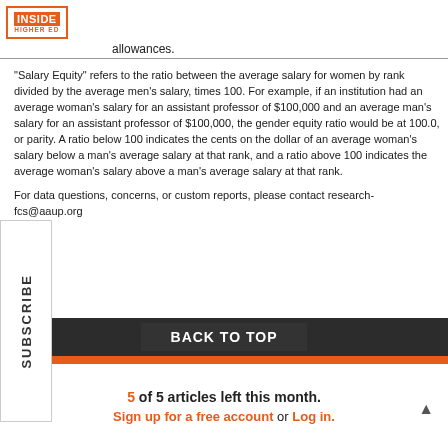[Figure (logo): Inside Higher Ed logo with orange box border and orange INSIDE text above HIGHER ED]
allowances.
"Salary Equity" refers to the ratio between the average salary for women by rank divided by the average men’s salary, times 100. For example, if an institution had an average woman’s salary for an assistant professor of $100,000 and an average man’s salary for an assistant professor of $100,000, the gender equity ratio would be at 100.0, or parity. A ratio below 100 indicates the cents on the dollar of an average woman’s salary below a man’s average salary at that rank, and a ratio above 100 indicates the average woman’s salary above a man’s average salary at that rank.
For data questions, concerns, or custom reports, please contact research-fcs@aaup.org
BACK TO TOP
5 of 5 articles left this month.
Sign up for a free account or Log in.